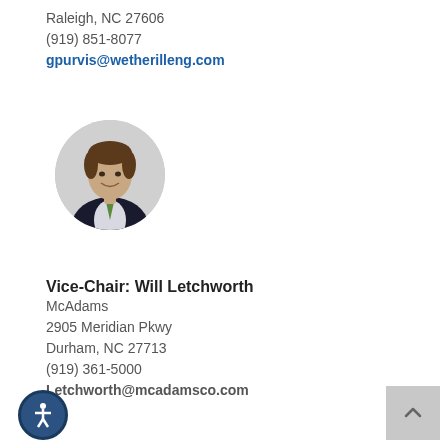Raleigh, NC 27606
(919) 851-8077
gpurvis@wetherilleng.com
[Figure (photo): Circular headshot of Will Letchworth, a man in a dark suit with a green striped tie, smiling, against a light background]
Vice-Chair: Will Letchworth
McAdams
2905 Meridian Pkwy
Durham, NC 27713
(919) 361-5000
Letchworth@mcadamsco.com